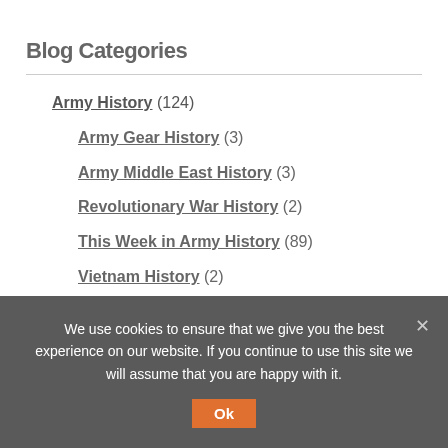Blog Categories
Army History (124)
Army Gear History (3)
Army Middle East History (3)
Revolutionary War History (2)
This Week in Army History (89)
Vietnam History (2)
WWI History (1)
We use cookies to ensure that we give you the best experience on our website. If you continue to use this site we will assume that you are happy with it.